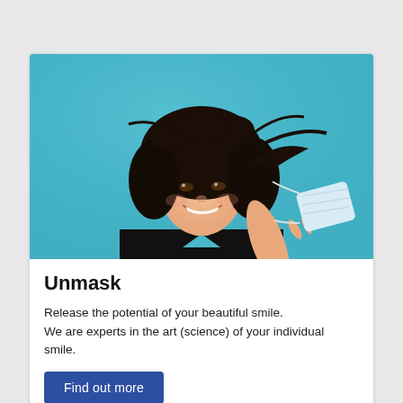[Figure (photo): A smiling young woman with curly dark hair wearing a black v-neck shirt against a teal/cyan blue background, holding a surgical face mask to the side of her face with two fingers, as if she just removed it.]
Unmask
Release the potential of your beautiful smile.
We are experts in the art (science) of your individual smile.
Find out more